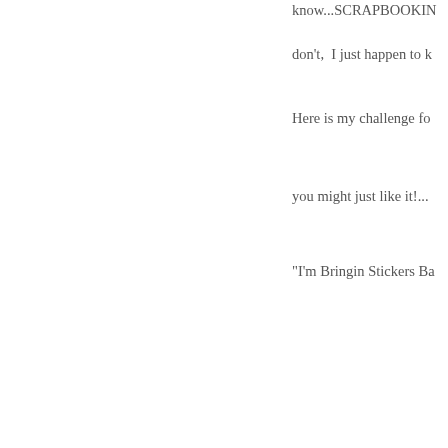know...SCRAPBOOKIN
don't,  I just happen to k
Here is my challenge fo
you might just like it!...
"I'm Bringin Stickers Ba
Comments (5) | TrackBack (0)
Classes, Roses and D
I have new class inform
Coming Up Roses" min
just trying to keep my d
here is a little peek into